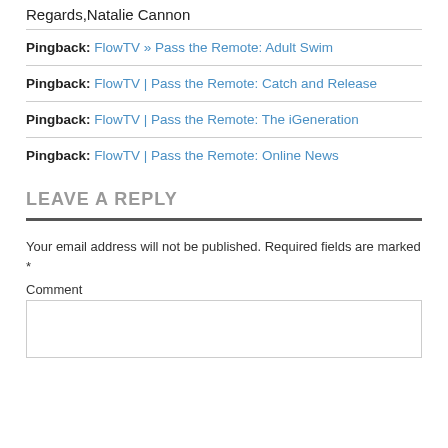Regards,Natalie Cannon
Pingback: FlowTV » Pass the Remote: Adult Swim
Pingback: FlowTV | Pass the Remote: Catch and Release
Pingback: FlowTV | Pass the Remote: The iGeneration
Pingback: FlowTV | Pass the Remote: Online News
LEAVE A REPLY
Your email address will not be published. Required fields are marked *
Comment